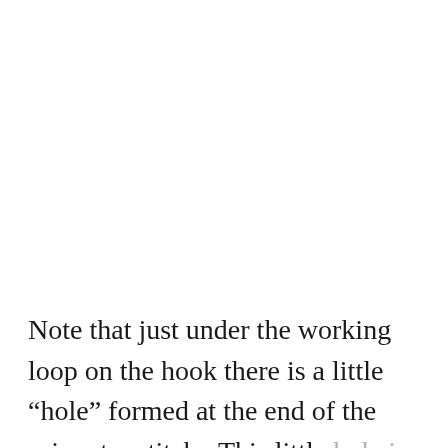Note that just under the working loop on the hook there is a little “hole” formed at the end of the prior star stitch.  This little hole is called the “eye” of the crochet